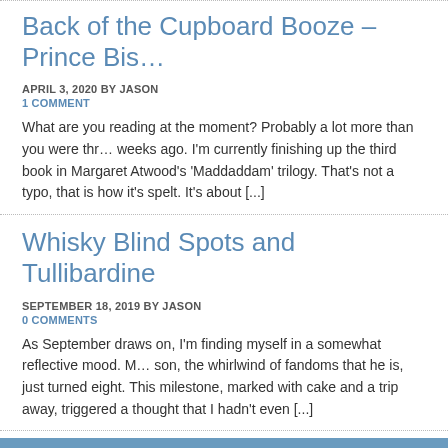Back of the Cupboard Booze – Prince Bis…
APRIL 3, 2020 BY JASON
1 COMMENT
What are you reading at the moment? Probably a lot more than you were thr… weeks ago. I'm currently finishing up the third book in Margaret Atwood's 'Maddaddam' trilogy. That's not a typo, that is how it's spelt. It's about [...]
Whisky Blind Spots and Tullibardine
SEPTEMBER 18, 2019 BY JASON
0 COMMENTS
As September draws on, I'm finding myself in a somewhat reflective mood. M… son, the whirlwind of fandoms that he is, just turned eight. This milestone, marked with cake and a trip away, triggered a thought that I hadn't even [...]
Pages: 1 2 3 4 5 6 7 8 »